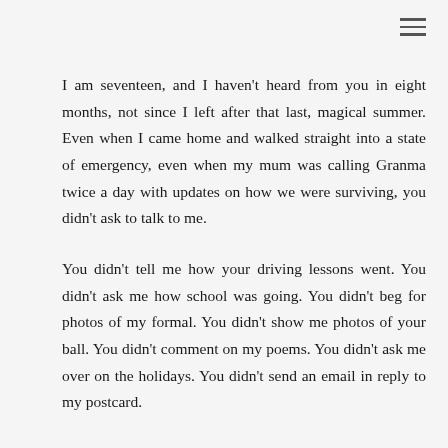I am seventeen, and I haven't heard from you in eight months, not since I left after that last, magical summer. Even when I came home and walked straight into a state of emergency, even when my mum was calling Granma twice a day with updates on how we were surviving, you didn't ask to talk to me.
You didn't tell me how your driving lessons went. You didn't ask me how school was going. You didn't beg for photos of my formal. You didn't show me photos of your ball. You didn't comment on my poems. You didn't ask me over on the holidays. You didn't send an email in reply to my postcard.
You didn't come over to visit with your mother and siblings the day before my birthday. You didn't give me a present. You didn't make me a card the way you had for the past four years. You didn't sign your